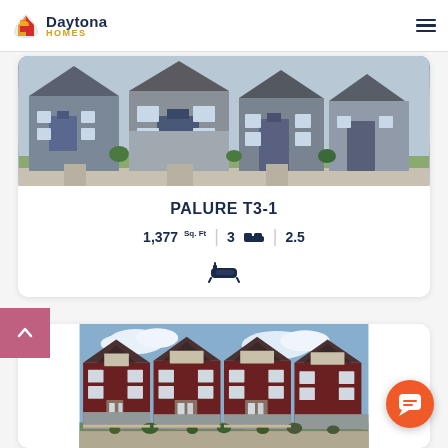Daytona Homes
[Figure (photo): Exterior rendering of Palure T3-1 townhouse, grey stone and wood siding, multiple units]
PALURE T3-1
1,377 Sq. Ft | 3 beds | 2.5 baths
[Figure (photo): Exterior rendering of a second townhouse model, dark red and beige siding, multiple units with gabled roofline]